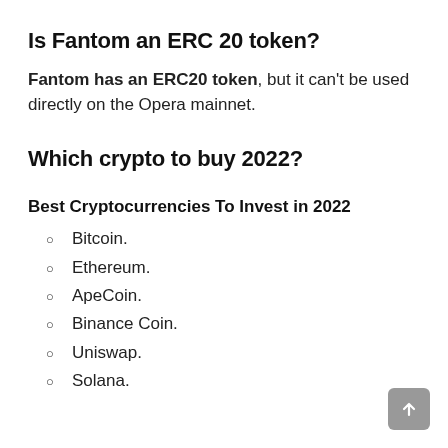Is Fantom an ERC 20 token?
Fantom has an ERC20 token, but it can’t be used directly on the Opera mainnet.
Which crypto to buy 2022?
Best Cryptocurrencies To Invest in 2022
Bitcoin.
Ethereum.
ApeCoin.
Binance Coin.
Uniswap.
Solana.